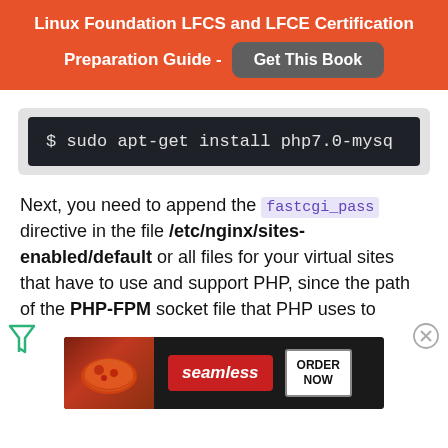Linux Foundation LFCS and LFCE Certification Preparation Guide - Get This Book
[Figure (screenshot): Terminal command: $ sudo apt-get install php7.0-mysq...]
Next, you need to append the fastcgi_pass directive in the file /etc/nginx/sites-enabled/default or all files for your virtual sites that have to use and support PHP, since the path of the PHP-FPM socket file that PHP uses to
[Figure (screenshot): Seamless food delivery advertisement banner - ORDER NOW]